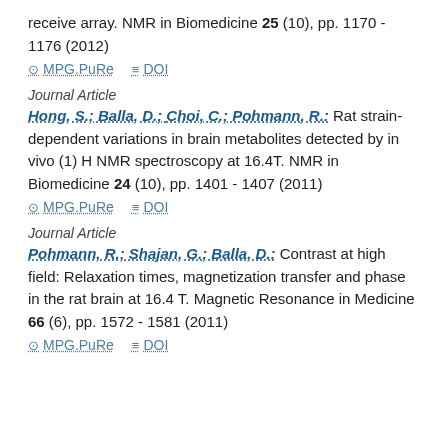receive array. NMR in Biomedicine 25 (10), pp. 1170 - 1176 (2012)
⊙ MPG.PuRe   ≡ DOI
Journal Article
Hong, S.; Balla, D.; Choi, C.; Pohmann, R.: Rat strain-dependent variations in brain metabolites detected by in vivo (1) H NMR spectroscopy at 16.4T. NMR in Biomedicine 24 (10), pp. 1401 - 1407 (2011)
⊙ MPG.PuRe   ≡ DOI
Journal Article
Pohmann, R.; Shajan, G.; Balla, D.: Contrast at high field: Relaxation times, magnetization transfer and phase in the rat brain at 16.4 T. Magnetic Resonance in Medicine 66 (6), pp. 1572 - 1581 (2011)
⊙ MPG.PuRe   ≡ DOI